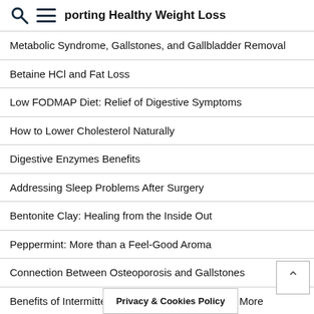Supporting Healthy Weight Loss
Metabolic Syndrome, Gallstones, and Gallbladder Removal
Betaine HCl and Fat Loss
Low FODMAP Diet: Relief of Digestive Symptoms
How to Lower Cholesterol Naturally
Digestive Enzymes Benefits
Addressing Sleep Problems After Surgery
Bentonite Clay: Healing from the Inside Out
Peppermint: More than a Feel-Good Aroma
Connection Between Osteoporosis and Gallstones
Benefits of Intermittent Fasting: Weight Loss and More
Kombucha Tea Health
Privacy & Cookies Policy